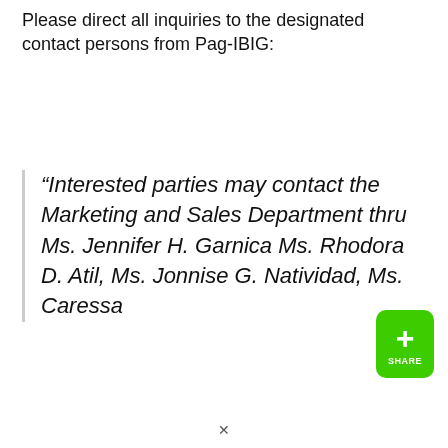Please direct all inquiries to the designated contact persons from Pag-IBIG:
“Interested parties may contact the Marketing and Sales Department thru Ms. Jennifer H. Garnica Ms. Rhodora D. Atil, Ms. Jonnise G. Natividad, Ms. Caressa